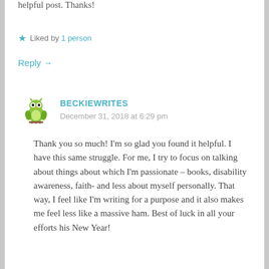helpful post. Thanks!
Liked by 1 person
Reply →
BECKIEWRITES
December 31, 2018 at 6:29 pm
Thank you so much! I'm so glad you found it helpful. I have this same struggle. For me, I try to focus on talking about things about which I'm passionate – books, disability awareness, faith- and less about myself personally. That way, I feel like I'm writing for a purpose and it also makes me feel less like a massive ham. Best of luck in all your efforts his New Year!